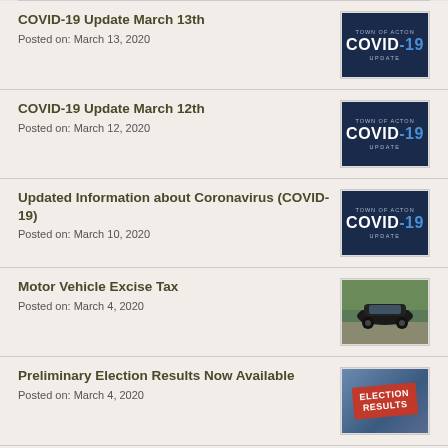COVID-19 Update March 13th
Posted on: March 13, 2020
[Figure (illustration): Town of Acton COVID-19 Update badge on dark navy background]
COVID-19 Update March 12th
Posted on: March 12, 2020
[Figure (illustration): Town of Acton COVID-19 Update badge on dark navy background]
Updated Information about Coronavirus (COVID-19)
Posted on: March 10, 2020
[Figure (illustration): Town of Acton COVID-19 Update badge on dark navy background]
Motor Vehicle Excise Tax
Posted on: March 4, 2020
[Figure (photo): Dark colored car driving on a road]
Preliminary Election Results Now Available
Posted on: March 4, 2020
[Figure (illustration): Election Results badge on blue starry background]